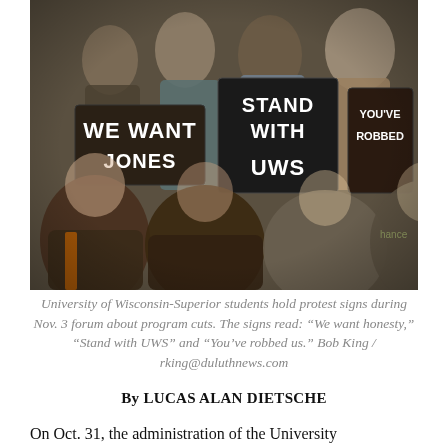[Figure (photo): University of Wisconsin-Superior students holding protest signs at a forum. Signs read: 'We want honesty,' 'Stand with UWS,' and 'You've robbed' (us). Multiple students visible in a crowded indoor setting.]
University of Wisconsin-Superior students hold protest signs during Nov. 3 forum about program cuts. The signs read: “We want honesty,” “Stand with UWS” and “You’ve robbed us.” Bob King / rking@duluthnews.com
By LUCAS ALAN DIETSCHE
On Oct. 31, the administration of the University